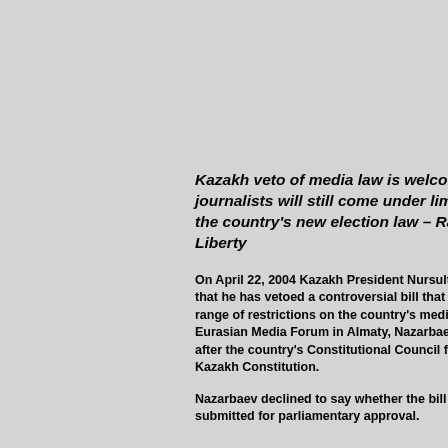Kazakh veto of media law is welcomed, but Kazakh journalists will still come under limitations imposed by the country's new election law – Radio Free Europe/Radio Liberty
On April 22, 2004 Kazakh President Nursultan Nazarbaev announced that he has vetoed a controversial bill that would have imposed a new range of restrictions on the country's media. Speaking before the Eurasian Media Forum in Almaty, Nazarbaev said he made the decision after the country's Constitutional Council found the bill violated the Kazakh Constitution.
Nazarbaev declined to say whether the bill will be amended and re-submitted for parliamentary approval.